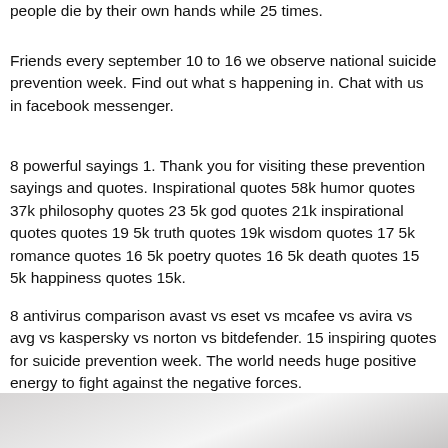people die by their own hands while 25 times.
Friends every september 10 to 16 we observe national suicide prevention week. Find out what s happening in. Chat with us in facebook messenger.
8 powerful sayings 1. Thank you for visiting these prevention sayings and quotes. Inspirational quotes 58k humor quotes 37k philosophy quotes 23 5k god quotes 21k inspirational quotes quotes 19 5k truth quotes 19k wisdom quotes 17 5k romance quotes 16 5k poetry quotes 16 5k death quotes 15 5k happiness quotes 15k.
8 antivirus comparison avast vs eset vs mcafee vs avira vs avg vs kaspersky vs norton vs bitdefender. 15 inspiring quotes for suicide prevention week. The world needs huge positive energy to fight against the negative forces.
[Figure (photo): Partial image at the bottom of the page showing a light grey/white background, appears to be a photo cropped at the bottom edge.]